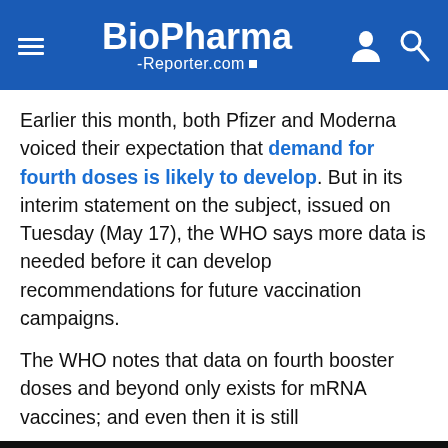BioPharma-Reporter.com
Earlier this month, both Pfizer and Moderna voiced their expectation that demand for fourth doses is likely to develop. But in its interim statement on the subject, issued on Tuesday (May 17), the WHO says more data is needed before it can develop recommendations for future vaccination campaigns.
The WHO notes that data on fourth booster doses and beyond only exists for mRNA vaccines; and even then it is still
This website uses cookies. By continuing to browse our website, you are agreeing to our use of cookies. You can learn more about cookies by visiting our privacy & cookies policy page.
I Agree